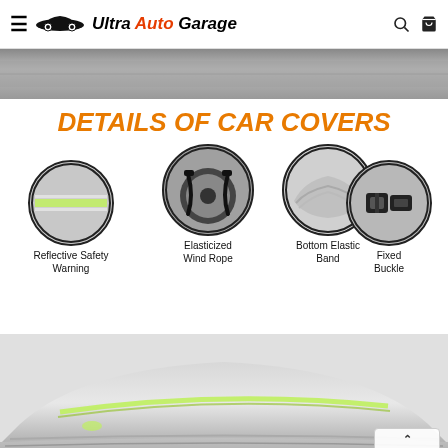Ultra Auto Garage
[Figure (photo): Close-up strip of a silver car cover material]
DETAILS OF CAR COVERS
[Figure (infographic): Infographic showing four circular detail photos of car cover features: Reflective Safety Warning (circle with silver cover and yellow-green reflective stripe), Elasticized Wind Rope (circle with wheel and black straps), Bottom Elastic Band (circle with bunched silver cover edge), Fixed Buckle (circle showing black plastic buckle)]
[Figure (photo): Silver car fully covered with a car cover, front/top view with visible reflective stripe]